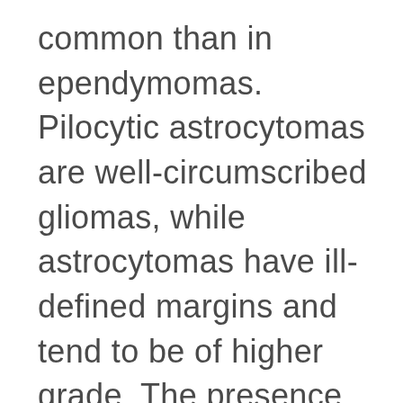common than in ependymomas. Pilocytic astrocytomas are well-circumscribed gliomas, while astrocytomas have ill-defined margins and tend to be of higher grade. The presence of syringohydromyelia, which is more commonly seen in spinal cord ependymoma,